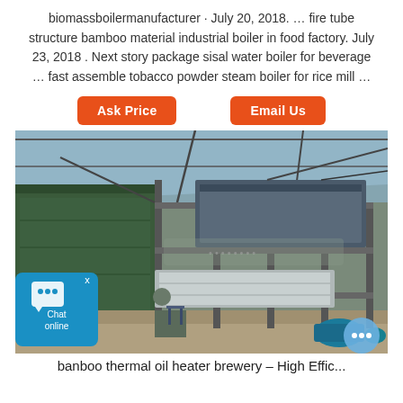biomassboilermanufacturer · July 20, 2018. … fire tube structure bamboo material industrial boiler in food factory. July 23, 2018 . Next story package sisal water boiler for beverage … fast assemble tobacco powder steam boiler for rice mill …
[Figure (other): Two orange/red rounded-rectangle buttons side by side: 'Ask Price' on the left and 'Email Us' on the right]
[Figure (photo): Industrial boiler installation inside a factory building. A large green rectangular boiler unit on the left with multi-level steel scaffold/pipe structure in the center and right, with corrugated roof, various machinery and piping visible. A chat widget overlay with 'x' close button, chat icon and 'Chat online' text is visible in the lower-left corner. A circular blue chat bubble button in the lower-right corner.]
banboo thermal oil heater brewery – High Effic...